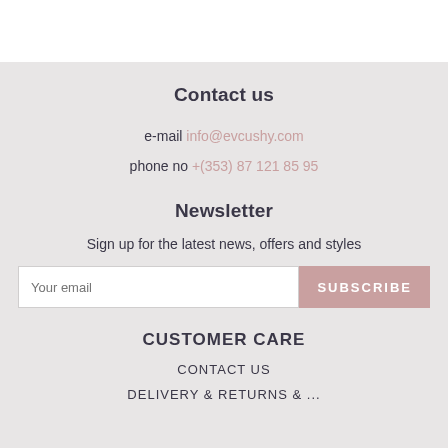Contact us
e-mail info@evcushy.com
phone no +(353) 87 121 85 95
Newsletter
Sign up for the latest news, offers and styles
Your email  SUBSCRIBE
CUSTOMER CARE
CONTACT US
DELIVERY & RETURNS & ...